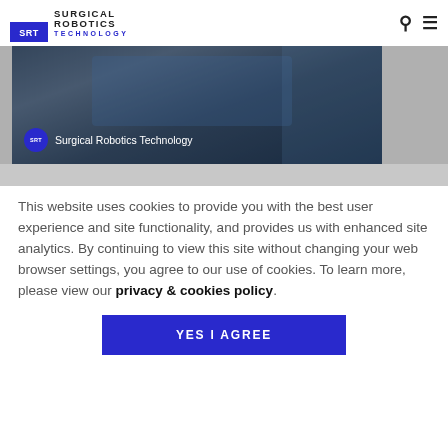SRT Surgical Robotics Technology
[Figure (photo): Surgical robotics procedure photo with dark blue overlay. Badge showing SRT circle logo and text 'Surgical Robotics Technology' overlaid at bottom left.]
This website uses cookies to provide you with the best user experience and site functionality, and provides us with enhanced site analytics. By continuing to view this site without changing your web browser settings, you agree to our use of cookies. To learn more, please view our privacy & cookies policy.
YES I AGREE